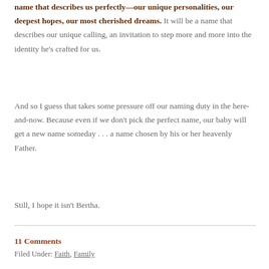name that describes us perfectly—our unique personalities, our deepest hopes, our most cherished dreams. It will be a name that describes our unique calling, an invitation to step more and more into the identity he's crafted for us.
And so I guess that takes some pressure off our naming duty in the here-and-now. Because even if we don't pick the perfect name, our baby will get a new name someday . . . a name chosen by his or her heavenly Father.
Still, I hope it isn't Bertha.
11 Comments
Filed Under: Faith, Family